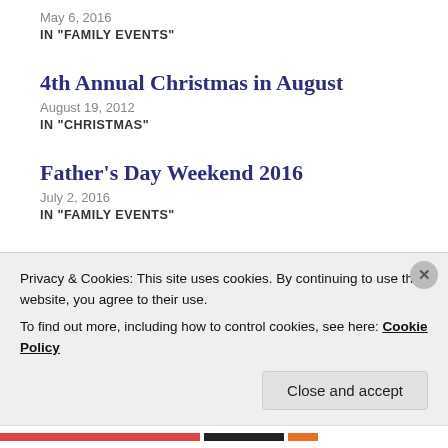May 6, 2016
IN "FAMILY EVENTS"
4th Annual Christmas in August
August 19, 2012
IN "CHRISTMAS"
Father's Day Weekend 2016
July 2, 2016
IN "FAMILY EVENTS"
Privacy & Cookies: This site uses cookies. By continuing to use this website, you agree to their use.
To find out more, including how to control cookies, see here: Cookie Policy
Close and accept